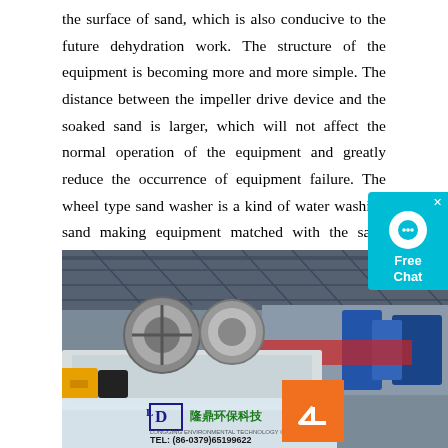the surface of sand, which is also conducive to the future dehydration work. The structure of the equipment is becoming more and more simple. The distance between the impeller drive device and the soaked sand is larger, which will not affect the normal operation of the equipment and greatly reduce the occurrence of equipment failure. The wheel type sand washer is a kind of water washing sand making equipment matched with the sand making machine. The wheel type sand washer can clean the mixed sand, stone powder impurities produced by the sand making mechanism, so as to improve the quality of sand.
[Figure (photo): Industrial photo of a wheel type sand washer machine in a factory setting. The machine is white/grey colored with rotating drum components. A branded panel reads 隆鼎环保科技 (Longding Environmental Technology) with logo and TEL: (86-0379)65199622. An orange up-arrow button overlay appears in the bottom right. Factory interior with steel structure roof visible in background.]